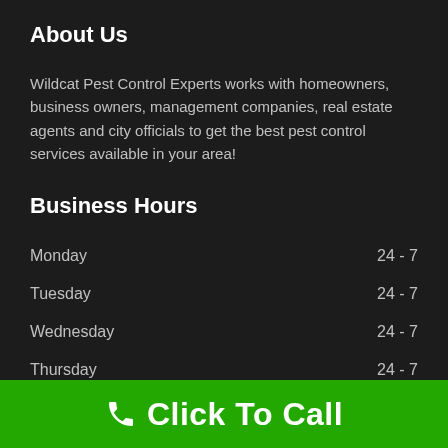About Us
Wildcat Pest Control Experts works with homeowners, business owners, management companies, real estate agents and city officials to get the best pest control services available in your area!
Business Hours
| Day | Hours |
| --- | --- |
| Monday | 24 - 7 |
| Tuesday | 24 - 7 |
| Wednesday | 24 - 7 |
| Thursday | 24 - 7 |
| Friday | 24 - 7 |
Click To Call